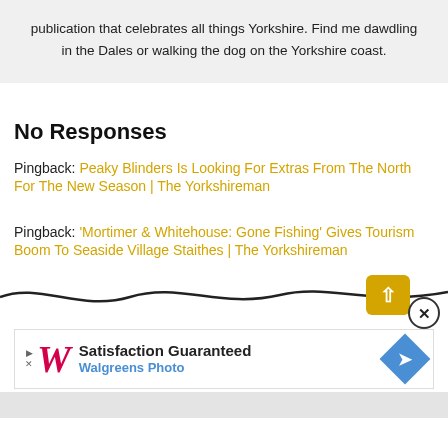publication that celebrates all things Yorkshire. Find me dawdling in the Dales or walking the dog on the Yorkshire coast.
No Responses
Pingback: Peaky Blinders Is Looking For Extras From The North For The New Season | The Yorkshireman
Pingback: 'Mortimer & Whitehouse: Gone Fishing' Gives Tourism Boom To Seaside Village Staithes | The Yorkshireman
[Figure (other): Scroll-to-top button (yellow square with white upward arrow) and close button (circle with X), overlaid on a decorative wave divider line]
[Figure (other): Walgreens Photo advertisement banner with play button, W logo, 'Satisfaction Guaranteed' text, 'Walgreens Photo' subtitle, and blue diamond icon]